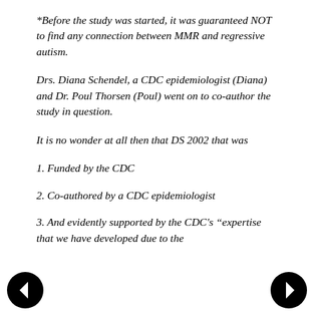*Before the study was started, it was guaranteed NOT to find any connection between MMR and regressive autism.
Drs. Diana Schendel, a CDC epidemiologist (Diana) and Dr. Poul Thorsen (Poul) went on to co-author the study in question.
It is no wonder at all then that DS 2002 that was
1. Funded by the CDC
2. Co-authored by a CDC epidemiologist
3. And evidently supported by the CDC's “expertise that we have developed due to the
[Figure (other): Left navigation arrow (black circle with white left-pointing chevron)]
[Figure (other): Right navigation arrow (black circle with white right-pointing chevron)]